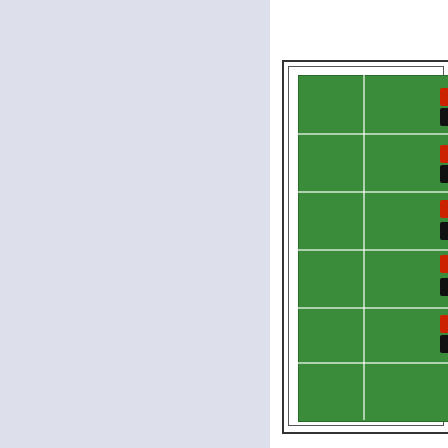[Figure (other): Partial view of a roulette betting table layout on a green felt surface, showing betting sections: '1 a 18', 'Pares', red diamond symbol, black diamond symbol, 'Impar', '19 a 36' on the left column, and '1a - 12', '2a - 12', '3a - 12' on the right column. The left half of the page has a light blue-grey background.]